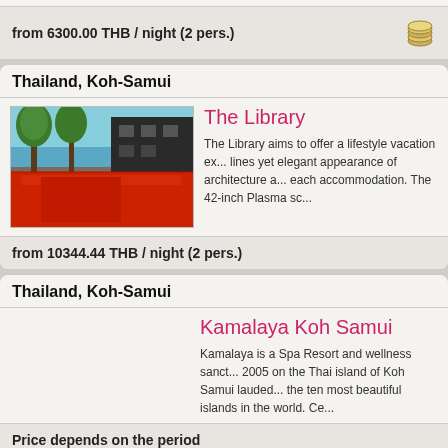from 6300.00 THB / night (2 pers.)
Thailand, Koh-Samui
[Figure (photo): The Library hotel exterior with red pool and trees, Koh Samui Thailand]
The Library
The Library aims to offer a lifestyle vacation experience with clean lines yet elegant appearance of architecture and art objects in each accommodation. The 42-inch Plasma sc
from 10344.44 THB / night (2 pers.)
Thailand, Koh-Samui
Kamalaya Koh Samui
Kamalaya is a Spa Resort and wellness sanctuary founded in 2005 on the Thai island of Koh Samui lauded as one of the ten most beautiful islands in the world. Ce
Price depends on the period